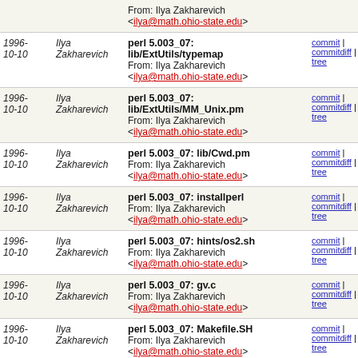| Date | Author | Message | Links |
| --- | --- | --- | --- |
|  |  | From: Ilya Zakharevich <ilya@math.ohio-state.edu> |  |
| 1996-10-10 | Ilya Zakharevich | perl 5.003_07: lib/ExtUtils/typemap
From: Ilya Zakharevich <ilya@math.ohio-state.edu> | commit | commitdiff | tree |
| 1996-10-10 | Ilya Zakharevich | perl 5.003_07: lib/ExtUtils/MM_Unix.pm
From: Ilya Zakharevich <ilya@math.ohio-state.edu> | commit | commitdiff | tree |
| 1996-10-10 | Ilya Zakharevich | perl 5.003_07: lib/Cwd.pm
From: Ilya Zakharevich <ilya@math.ohio-state.edu> | commit | commitdiff | tree |
| 1996-10-10 | Ilya Zakharevich | perl 5.003_07: installperl
From: Ilya Zakharevich <ilya@math.ohio-state.edu> | commit | commitdiff | tree |
| 1996-10-10 | Ilya Zakharevich | perl 5.003_07: hints/os2.sh
From: Ilya Zakharevich <ilya@math.ohio-state.edu> | commit | commitdiff | tree |
| 1996-10-10 | Ilya Zakharevich | perl 5.003_07: gv.c
From: Ilya Zakharevich <ilya@math.ohio-state.edu> | commit | commitdiff | tree |
| 1996-10-10 | Ilya Zakharevich | perl 5.003_07: Makefile.SH
From: Ilya Zakharevich <ilya@math.ohio-state.edu> | commit | commitdiff | tree |
| 1996-09-30 | Ilya Zakharevich | Re: dereferencing a hash from the debugger won't work | commit | commitdiff | tree |
| 1996- | Ilya | updated b2xs | commit |